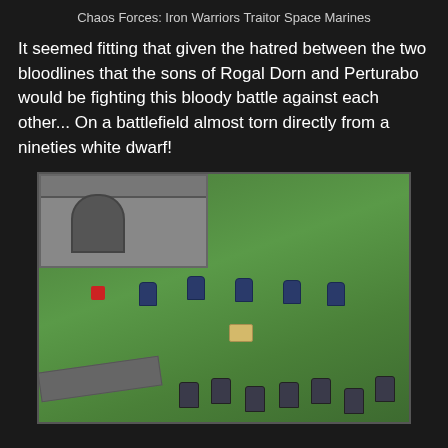Chaos Forces: Iron Warriors Traitor Space Marines
It seemed fitting that given the hatred between the two bloodlines that the sons of Rogal Dorn and Perturabo would be fighting this bloody battle against each other... On a battlefield almost torn directly from a nineties white dwarf!
[Figure (photo): Aerial view of a Warhammer 40K tabletop battlefield on a green cloth mat, showing grey stone ruins in the upper left, a red die, a row of blue Space Marine miniatures in the middle, a small scroll/objective marker, a grey wall section on the lower left, and a group of grey Chaos Space Marine miniatures at the bottom right.]